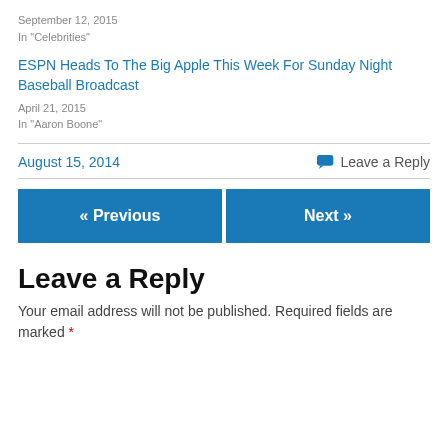September 12, 2015
In "Celebrities"
ESPN Heads To The Big Apple This Week For Sunday Night Baseball Broadcast
April 21, 2015
In "Aaron Boone"
August 15, 2014    Leave a Reply
« Previous
Next »
Leave a Reply
Your email address will not be published. Required fields are marked *